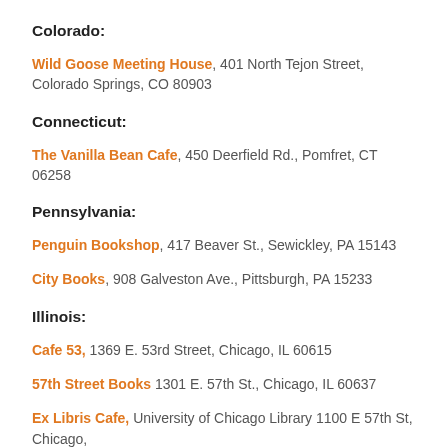Colorado:
Wild Goose Meeting House, 401 North Tejon Street, Colorado Springs, CO 80903
Connecticut:
The Vanilla Bean Cafe, 450 Deerfield Rd., Pomfret, CT 06258
Pennsylvania:
Penguin Bookshop, 417 Beaver St., Sewickley, PA 15143
City Books, 908 Galveston Ave., Pittsburgh, PA 15233
Illinois:
Cafe 53, 1369 E. 53rd Street, Chicago, IL 60615
57th Street Books 1301 E. 57th St., Chicago, IL 60637
Ex Libris Cafe, University of Chicago Library 1100 E 57th St, Chicago,